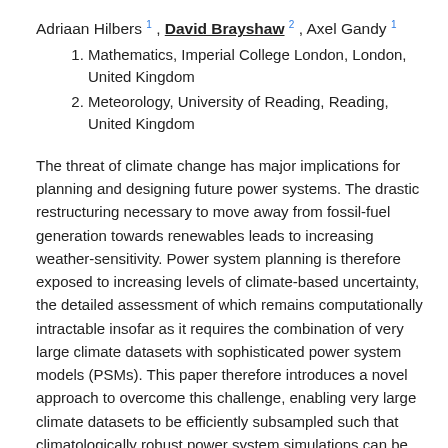Adriaan Hilbers 1 , David Brayshaw 2 , Axel Gandy 1
1. Mathematics, Imperial College London, London, United Kingdom
2. Meteorology, University of Reading, Reading, United Kingdom
The threat of climate change has major implications for planning and designing future power systems. The drastic restructuring necessary to move away from fossil-fuel generation towards renewables leads to increasing weather-sensitivity. Power system planning is therefore exposed to increasing levels of climate-based uncertainty, the detailed assessment of which remains computationally intractable insofar as it requires the combination of very large climate datasets with sophisticated power system models (PSMs). This paper therefore introduces a novel approach to overcome this challenge, enabling very large climate datasets to be efficiently subsampled such that climatologically robust power system simulations can be achieved.
In power system planning, PSMs are frequently employed. These correspond to techno-economic based computer simulations for electricity system investment...